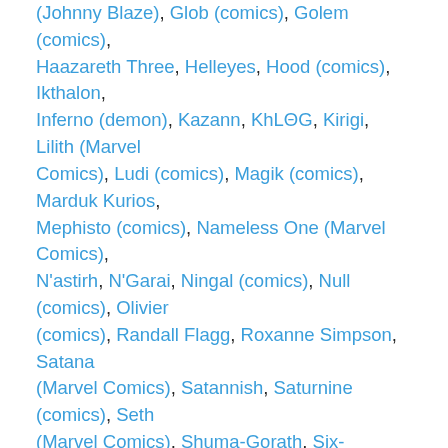(Johnny Blaze), Glob (comics), Golem (comics), Haazareth Three, Helleyes, Hood (comics), Ikthalon, Inferno (demon), Kazann, KhLΘG, Kirigi, Lilith (Marvel Comics), Ludi (comics), Magik (comics), Marduk Kurios, Mephisto (comics), Nameless One (Marvel Comics), N'astirh, N'Garai, Ningal (comics), Null (comics), Olivier (comics), Randall Flagg, Roxanne Simpson, Satana (Marvel Comics), Satannish, Saturnine (comics), Seth (Marvel Comics), Shuma-Gorath, Six-Fingered Hand (comics), Skinner (comics), Sligguth, Spider-X, Stone (Marvel Comics), Suma-ket, Surtur (Marvel Comics), S'ym, Thog, Trauma (comics), Undying Ones, Vengeance (comics), Visimajoris, Y'Garon, Zarathos, and Zom
Only two demons/devils have graduated to their own title in the Marvel universe: Ghost Rider and Daimon Hellstrom.  The problem is that Ghost Rider doesn't look